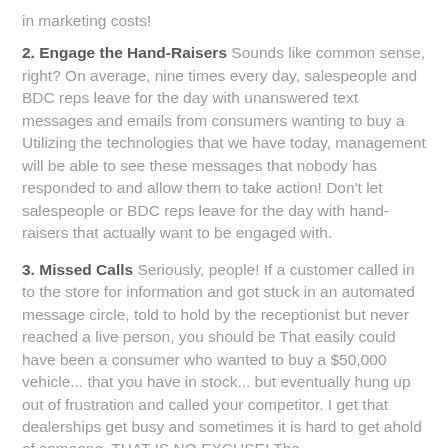in marketing costs!
2. Engage the Hand-Raisers Sounds like common sense, right? On average, nine times every day, salespeople and BDC reps leave for the day with unanswered text messages and emails from consumers wanting to buy a Utilizing the technologies that we have today, management will be able to see these messages that nobody has responded to and allow them to take action! Don't let salespeople or BDC reps leave for the day with hand-raisers that actually want to be engaged with.
3. Missed Calls Seriously, people! If a customer called in to the store for information and got stuck in an automated message circle, told to hold by the receptionist but never reached a live person, you should be That easily could have been a consumer who wanted to buy a $50,000 vehicle... that you have in stock... but eventually hung up out of frustration and called your competitor. I get that dealerships get busy and sometimes it is hard to get ahold of someone. THAT IS NO EXCUSE! The